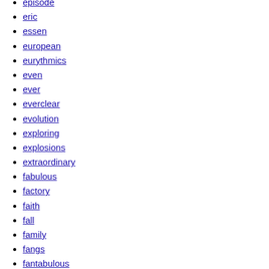episode
eric
essen
european
eurythmics
even
ever
everclear
evolution
exploring
explosions
extraordinary
fabulous
factory
faith
fall
family
fangs
fantabulous
fantastic
farhan
fastbacks
fats
fd13
fd26-op3
feist-
fela
festival-
fifteen